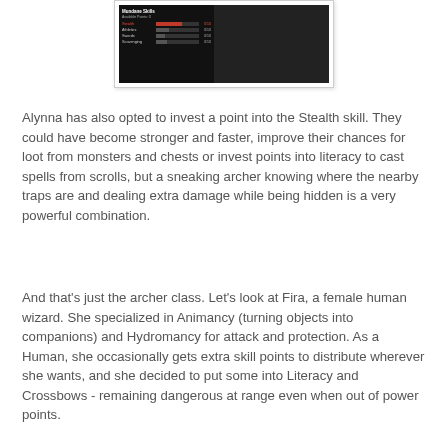[Figure (screenshot): A game UI screenshot showing a skill tree panel with Stealth highlighted in red/orange bar, and Athletics, Swords, Scavenging shown below with smaller bars. A dark panel occupies the right portion.]
Alynna has also opted to invest a point into the Stealth skill. They could have become stronger and faster, improve their chances for loot from monsters and chests or invest points into literacy to cast spells from scrolls, but a sneaking archer knowing where the nearby traps are and dealing extra damage while being hidden is a very powerful combination.
And that's just the archer class. Let's look at Fira, a female human wizard. She specialized in Animancy (turning objects into companions) and Hydromancy for attack and protection. As a Human, she occasionally gets extra skill points to distribute wherever she wants, and she decided to put some into Literacy and Crossbows - remaining dangerous at range even when out of power points.